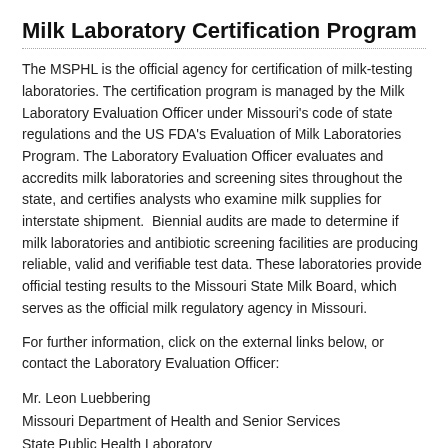Milk Laboratory Certification Program
The MSPHL is the official agency for certification of milk-testing laboratories. The certification program is managed by the Milk Laboratory Evaluation Officer under Missouri's code of state regulations and the US FDA's Evaluation of Milk Laboratories Program. The Laboratory Evaluation Officer evaluates and accredits milk laboratories and screening sites throughout the state, and certifies analysts who examine milk supplies for interstate shipment.  Biennial audits are made to determine if milk laboratories and antibiotic screening facilities are producing reliable, valid and verifiable test data. These laboratories provide official testing results to the Missouri State Milk Board, which serves as the official milk regulatory agency in Missouri.
For further information, click on the external links below, or contact the Laboratory Evaluation Officer:
Mr. Leon Luebbering
Missouri Department of Health and Senior Services
State Public Health Laboratory
101 North Chestnut Street